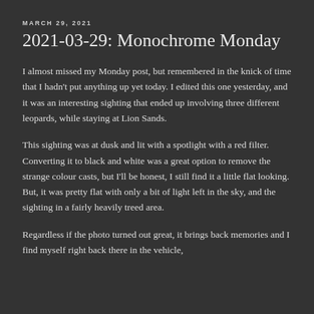MARCH 29, 2021
2021-03-29: Monochrome Monday
I almost missed my Monday post, but remembered in the knick of time that I hadn't put anything up yet today. I edited this one yesterday, and it was an interesting sighting that ended up involving three different leopards, while staying at Lion Sands.
This sighting was at dusk and lit with a spotlight with a red filter. Converting it to black and white was a great option to remove the strange colour casts, but I'll be honest, I still find it a little flat looking. But, it was pretty flat with only a bit of light left in the sky, and the sighting in a fairly heavily treed area.
Regardless if the photo turned out great, it brings back memories and I find myself right back there in the vehicle,